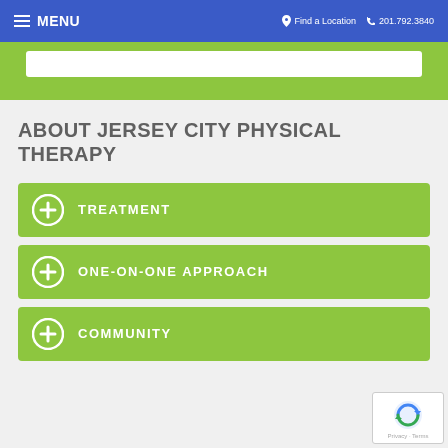MENU  Find a Location  201.792.3840
ABOUT JERSEY CITY PHYSICAL THERAPY
TREATMENT
ONE-ON-ONE APPROACH
COMMUNITY